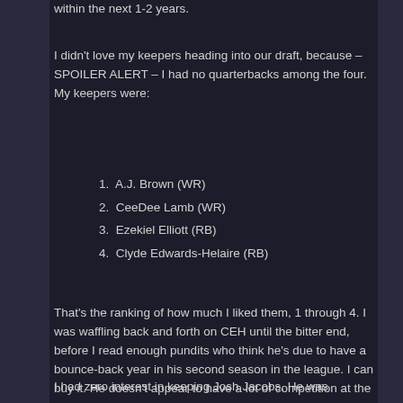within the next 1-2 years.
I didn't love my keepers heading into our draft, because – SPOILER ALERT – I had no quarterbacks among the four. My keepers were:
1. A.J. Brown (WR)
2. CeeDee Lamb (WR)
3. Ezekiel Elliott (RB)
4. Clyde Edwards-Helaire (RB)
That's the ranking of how much I liked them, 1 through 4. I was waffling back and forth on CEH until the bitter end, before I read enough pundits who think he's due to have a bounce-back year in his second season in the league. I can buy it. He doesn't appear to have a lot of competition at the spot in Kansas City; even though they throw the ball WAY MORE than they run it, he could sneak in for some more touchdowns and still catch a lot of balls.
I had zero interest in keeping Josh Jacobs. He was